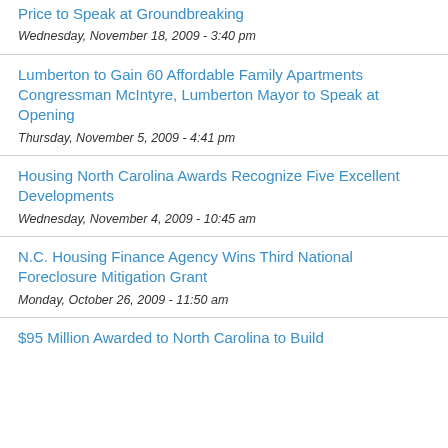Price to Speak at Groundbreaking
Wednesday, November 18, 2009 - 3:40 pm
Lumberton to Gain 60 Affordable Family Apartments Congressman McIntyre, Lumberton Mayor to Speak at Opening
Thursday, November 5, 2009 - 4:41 pm
Housing North Carolina Awards Recognize Five Excellent Developments
Wednesday, November 4, 2009 - 10:45 am
N.C. Housing Finance Agency Wins Third National Foreclosure Mitigation Grant
Monday, October 26, 2009 - 11:50 am
$95 Million Awarded to North Carolina to Build